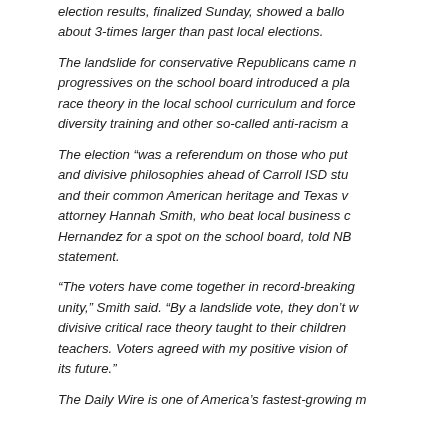election results, finalized Sunday, showed a ballot about 3-times larger than past local elections.
The landslide for conservative Republicans came n progressives on the school board introduced a pla race theory in the local school curriculum and force diversity training and other so-called anti-racism a
The election "was a referendum on those who put and divisive philosophies ahead of Carroll ISD stu and their common American heritage and Texas v attorney Hannah Smith, who beat local business c Hernandez for a spot on the school board, told NB statement.
"The voters have come together in record-breaking unity," Smith said. "By a landslide vote, they don't w divisive critical race theory taught to their children teachers. Voters agreed with my positive vision of its future."
The Daily Wire is one of America's fastest-growing m